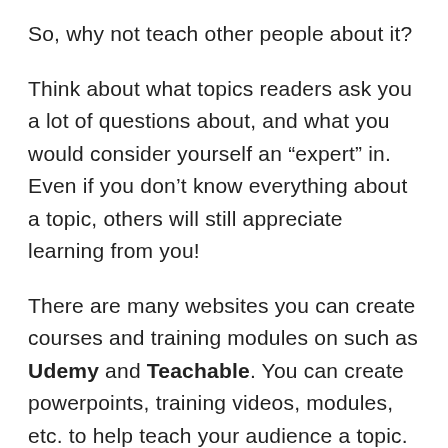So, why not teach other people about it?
Think about what topics readers ask you a lot of questions about, and what you would consider yourself an “expert” in. Even if you don’t know everything about a topic, others will still appreciate learning from you!
There are many websites you can create courses and training modules on such as Udemy and Teachable. You can create powerpoints, training videos, modules, etc. to help teach your audience a topic.
You can sell your courses and trainings on those platforms too, which helps take care